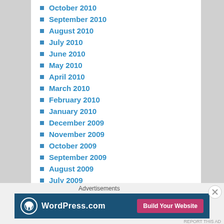October 2010
September 2010
August 2010
July 2010
June 2010
May 2010
April 2010
March 2010
February 2010
January 2010
December 2009
November 2009
October 2009
September 2009
August 2009
July 2009
June 2009
May 2009
Advertisements
[Figure (screenshot): WordPress.com advertisement banner with logo and 'Build Your Website' button]